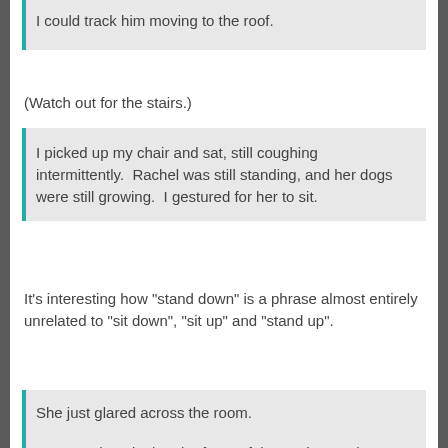I could track him moving to the roof.
(Watch out for the stairs.)
I picked up my chair and sat, still coughing intermittently.  Rachel was still standing, and her dogs were still growing.  I gestured for her to sit.
It’s interesting how “stand down” is a phrase almost entirely unrelated to “sit down”, “sit up” and “stand up”.
She just glared across the room.
I gestured again, but the force of the motion made my chest hurt and I started coughing.  Before I recovered, Rachel sat with an